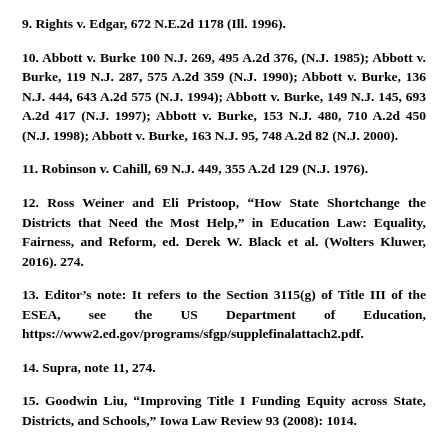9. Rights v. Edgar, 672 N.E.2d 1178 (Ill. 1996).
10. Abbott v. Burke 100 N.J. 269, 495 A.2d 376, (N.J. 1985); Abbott v. Burke, 119 N.J. 287, 575 A.2d 359 (N.J. 1990); Abbott v. Burke, 136 N.J. 444, 643 A.2d 575 (N.J. 1994); Abbott v. Burke, 149 N.J. 145, 693 A.2d 417 (N.J. 1997); Abbott v. Burke, 153 N.J. 480, 710 A.2d 450 (N.J. 1998); Abbott v. Burke, 163 N.J. 95, 748 A.2d 82 (N.J. 2000).
11. Robinson v. Cahill, 69 N.J. 449, 355 A.2d 129 (N.J. 1976).
12. Ross Weiner and Eli Pristoop, “How State Shortchange the Districts that Need the Most Help,” in Education Law: Equality, Fairness, and Reform, ed. Derek W. Black et al. (Wolters Kluwer, 2016). 274.
13. Editor’s note: It refers to the Section 3115(g) of Title III of the ESEA, see the US Department of Education, https://www2.ed.gov/programs/sfgp/supplefinalattach2.pdf.
14. Supra, note 11, 274.
15. Goodwin Liu, “Improving Title I Funding Equity across State, Districts, and Schools,” Iowa Law Review 93 (2008): 1014.